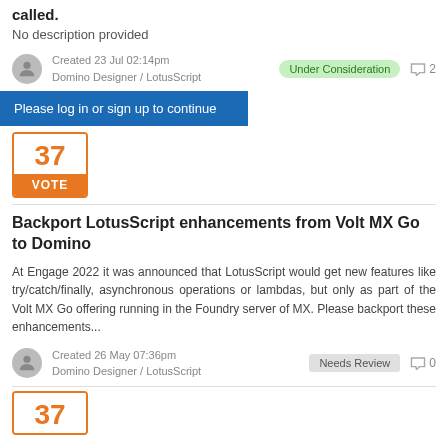called.
No description provided
Created 23 Jul 02:14pm
Domino Designer / LotusScript
Under Consideration  2
Please log in or sign up to continue
37 VOTE
Backport LotusScript enhancements from Volt MX Go to Domino
At Engage 2022 it was announced that LotusScript would get new features like try/catch/finally, asynchronous operations or lambdas, but only as part of the Volt MX Go offering running in the Foundry server of MX. Please backport these enhancements...
Created 26 May 07:36pm
Domino Designer / LotusScript
Needs Review  0
37